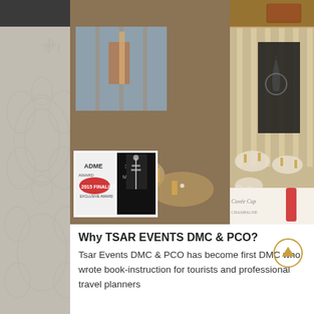[Figure (photo): Collage of event photos: elegant dining room with view of Red Square, large banquet hall with round tables set for an event, award logos overlay, and smaller photos of food and decorated tables on right side]
Why TSAR EVENTS DMC & PCO?
Tsar Events DMC & PCO has become first DMC who wrote book-instruction for tourists and professional travel planners